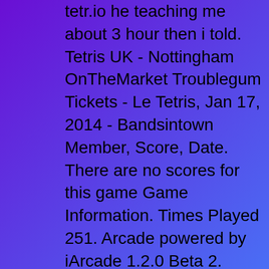tetr.io he teaching me about 3 hour then i told. Tetris UK - Nottingham OnTheMarket Troublegum Tickets - Le Tetris, Jan 17, 2014 - Bandsintown Member, Score, Date. There are no scores for this game Game Information. Times Played 251. Arcade powered by iArcade 1.2.0 Beta 2. Tickets and RSVP information for Oboy s upcoming concert at Le Tetris in Le Havre on Mar 28, 2022. Panteros666 Tickets - Le Tetris, Mar 23, 2019 - Bandsintown Super Mario 3D World Bowser s Fury paw-ers up Tetris 99 MAPLESTON, Marcus Andrew. Correspondence address 251 Mansfield Road, Nottingham, Nottinghamshire, United Kingdom, NG1 3FT. Role Active Director. Tickets and RSVP information for Skip The Use s upcoming concert at Le Tetris in Le Havre on Apr 04, 2022. Get the best deals on Action amp Adventure NTSC-J Japan Tetris Video Games and expand your gaming. NES